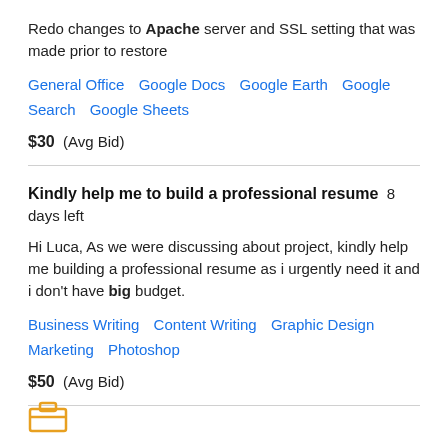Redo changes to Apache server and SSL setting that was made prior to restore
General Office   Google Docs   Google Earth   Google Search   Google Sheets
$30  (Avg Bid)
Kindly help me to build a professional resume  8 days left
Hi Luca, As we were discussing about project, kindly help me building a professional resume as i urgently need it and i don't have big budget.
Business Writing   Content Writing   Graphic Design   Marketing   Photoshop
$50  (Avg Bid)